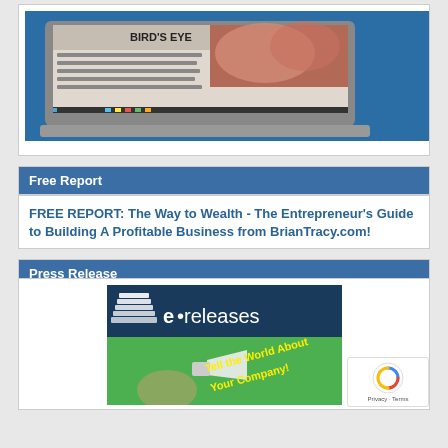[Figure (screenshot): Screenshot of a tablet/laptop showing a magazine article titled BIRD'S EYE with a colorful image, on a blue background]
Free Report
FREE REPORT: The Way to Wealth - The Entrepreneur's Guide to Building A Profitable Business from BrianTracy.com!
Press Release
[Figure (logo): e·releases logo banner ad with text 'Tell the World About Your Company!' on a green background with a woman holding a megaphone]